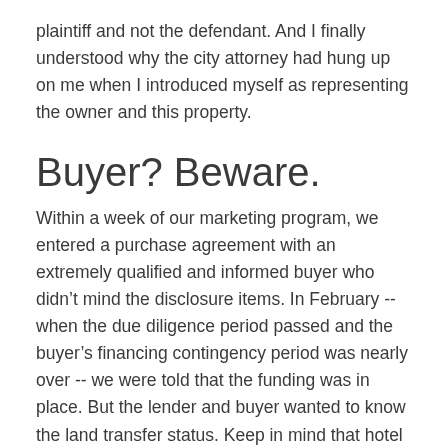plaintiff and not the defendant. And I finally understood why the city attorney had hung up on me when I introduced myself as representing the owner and this property.
Buyer? Beware.
Within a week of our marketing program, we entered a purchase agreement with an extremely qualified and informed buyer who didn't mind the disclosure items. In February -- when the due diligence period passed and the buyer's financing contingency period was nearly over -- we were told that the funding was in place. But the lender and buyer wanted to know the land transfer status. Keep in mind that hotel financing had effectively dried up in the market. It was the buyer's strength -- not the asset -- that triggered the lender's conditional approval.